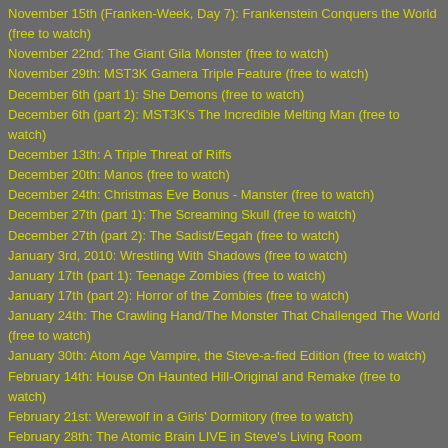November 15th (Franken-Week, Day 7): Frankenstein Conquers the World (free to watch)
November 22nd: The Giant Gila Monster (free to watch)
November 29th: MST3K Gamera Triple Feature (free to watch)
December 6th (part 1): She Demons (free to watch)
December 6th (part 2): MST3K's The Incredible Melting Man (free to watch)
December 13th: A Triple Threat of Riffs
December 20th: Manos (free to watch)
December 24th: Christmas Eve Bonus - Manster (free to watch)
December 27th (part 1): The Screaming Skull (free to watch)
December 27th (part 2): The Sadist/Eegah (free to watch)
January 3rd, 2010: Wrestling With Shadows (free to watch)
January 17th (part 1): Teenage Zombies (free to watch)
January 17th (part 2): Horror of the Zombies (free to watch)
January 24th: The Crawling Hand/The Monster That Challenged The World (free to watch)
January 30th: Atom Age Vampire, the Steve-a-fied Edition (free to watch)
February 14th: House On Haunted Hill-Original and Remake (free to watch)
February 21st: Werewolf in a Girls' Dormitory (free to watch)
February 28th: The Atomic Brain LIVE in Steve's Living Room
March 7th: Lady Frankenstein (free to watch)
March 14th (part 1): Castle of Evil (free to watch)
March 14th (part 2): Tormented (free to watch)
March 21st: A.P.E (WARNING: movie contains a line about RAPE which may apparently offend